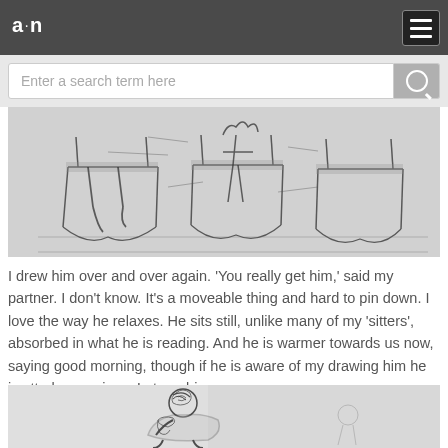a·n
[Figure (screenshot): Search bar with placeholder text 'Enter a search term here' and a search button]
[Figure (illustration): Pencil sketch of chairs and seated figures in a waiting area, black and white drawing]
I drew him over and over again. 'You really get him,' said my partner. I don't know. It's a moveable thing and hard to pin down. I love the way he relaxes. He sits still, unlike many of my 'sitters', absorbed in what he is reading. And he is warmer towards us now, saying good morning, though if he is aware of my drawing him he is utterly uncurious. Later a big man came.
[Figure (illustration): Pencil sketch of a large seated man, drawn from observation, black and white drawing]